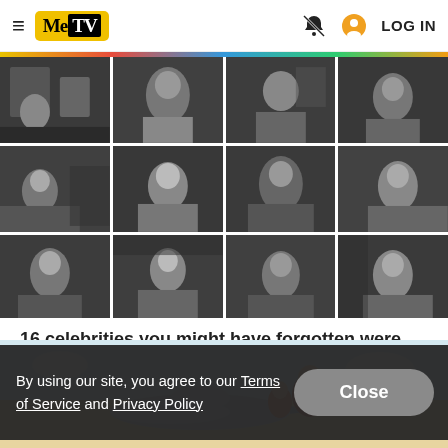MeTV | LOG IN
[Figure (photo): Grid of 12 black and white TV screenshots arranged in 3 rows of 4, showing various celebrities from The Twilight Zone]
16 celebrities you might have forgotten were on 'The Twilight Zone'
By using our site, you agree to our Terms of Service and Privacy Policy
[Figure (illustration): Colorful vintage illustration showing a woman, child, and airplane at the bottom of the page]